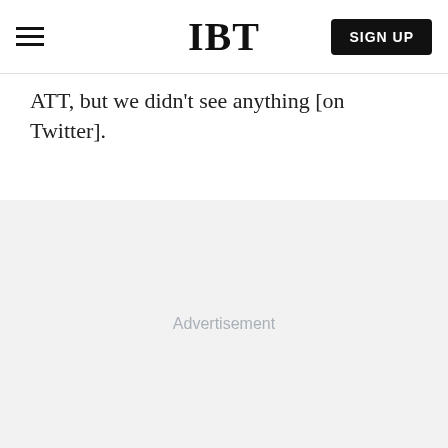IBT | SIGN UP
ATT, but we didn't see anything [on Twitter].
[Figure (other): Advertisement placeholder area with light gray background and 'Advertisement' label text in center]